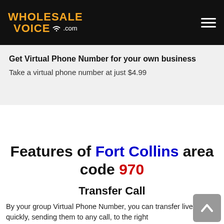WHOLESALE VOICE .com
Get Virtual Phone Number for your own business
Take a virtual phone number at just $4.99
Features of Fort Collins area code 970
Transfer Call
By your group Virtual Phone Number, you can transfer live calls quickly, sending them to any call, to the right...